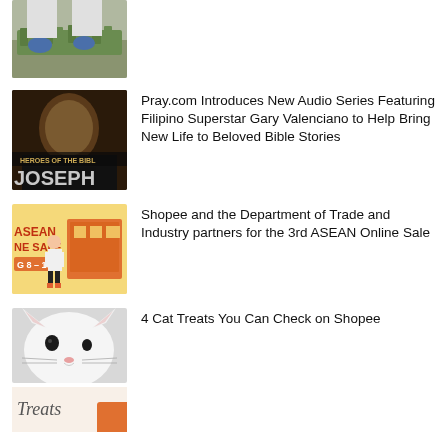[Figure (photo): Partial photo of workers with blue gloves handling green plants/vegetables in trays]
[Figure (photo): Book cover or poster for 'Heroes of the Bible: Joseph' showing a man's face in dark tones]
Pray.com Introduces New Audio Series Featuring Filipino Superstar Gary Valenciano to Help Bring New Life to Beloved Bible Stories
[Figure (photo): Shopee promotional banner for ASEAN Online Sale Aug 8-10, showing a female character in apron on yellow background with text ASEAN NE SALE G 8-10]
Shopee and the Department of Trade and Industry partners for the 3rd ASEAN Online Sale
[Figure (photo): Close-up photo of a white cat's face]
4 Cat Treats You Can Check on Shopee
[Figure (photo): Partial bottom image showing Treats text with orange color]